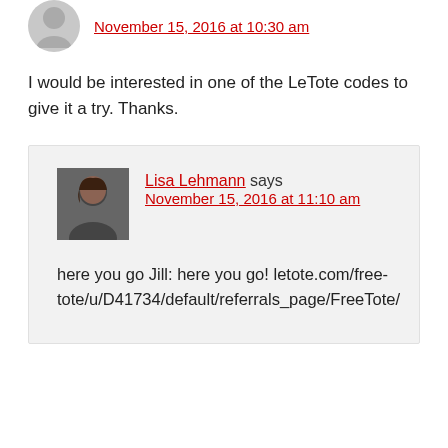November 15, 2016 at 10:30 am
I would be interested in one of the LeTote codes to give it a try. Thanks.
Lisa Lehmann says
November 15, 2016 at 11:10 am
here you go Jill: here you go! letote.com/free-tote/u/D41734/default/referrals_page/FreeTote/